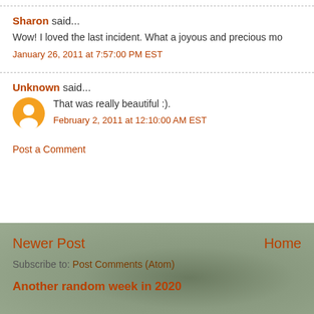Sharon said...
Wow! I loved the last incident. What a joyous and precious mo
January 26, 2011 at 7:57:00 PM EST
Unknown said...
That was really beautiful :).
February 2, 2011 at 12:10:00 AM EST
Post a Comment
Newer Post
Home
Subscribe to: Post Comments (Atom)
Another random week in 2020